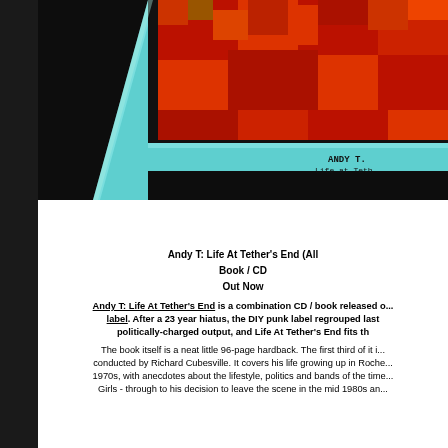[Figure (photo): Photo of a book/CD titled 'Andy T. Life at Tether's End' shown from the spine angle against a dark background. The book has a teal/cyan spine with pixelated red/orange artwork on the cover. The spine text reads 'ANDY T. Life at Teth...' in typewriter font.]
Andy T: Life At Tether's End (All ... Book / CD Out Now Andy T: Life At Tether's End is a combination CD / book released o... label. After a 23 year hiatus, the DIY punk label regrouped last ... politically-charged output, and Life At Tether's End fits th... The book itself is a neat little 96-page hardback. The first third of it i... conducted by Richard Cubesville. It covers his life growing up in Roche... 1970s, with anecdotes about the lifestyle, politics and bands of the time... Girls - through to his decision to leave the scene in the mid 1980s an...